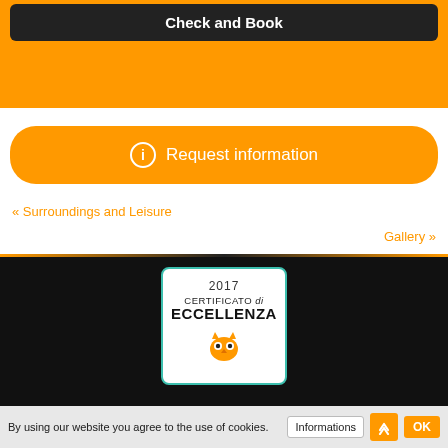[Figure (screenshot): Check and Book button — dark button on orange background]
[Figure (screenshot): Request information button — orange rounded button with info icon]
« Surroundings and Leisure
Gallery »
[Figure (illustration): TripAdvisor 2017 Certificato di Eccellenza badge — circular badge with teal border on white background, showing owl icon]
By using our website you agree to the use of cookies.   Informations   OK